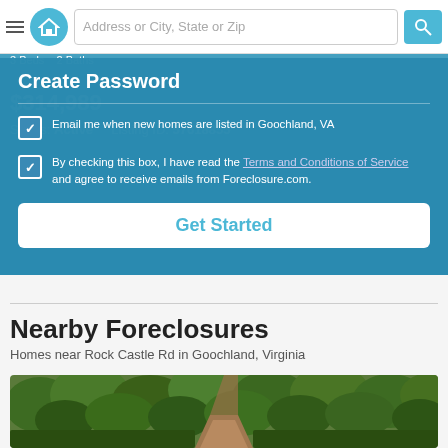Get Complete Address Goochland, VA 23063 | Address or City, State or Zip | 3 Beds 2 Baths
$314,989
Status: Active   Listing ID: 57618855
Create Password
Email me when new homes are listed in Goochland, VA
By checking this box, I have read the Terms and Conditions of Service and agree to receive emails from Foreclosure.com.
Get Started
Nearby Foreclosures
Homes near Rock Castle Rd in Goochland, Virginia
[Figure (photo): Aerial/satellite view of a dirt road through dense green forest and wooded terrain]